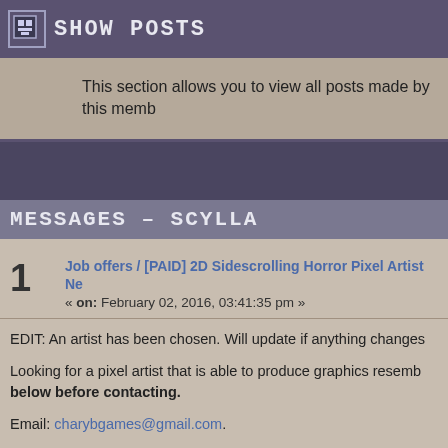SHOW POSTS
This section allows you to view all posts made by this memb...
MESSAGES – SCYLLA
1  Job offers / [PAID] 2D Sidescrolling Horror Pixel Artist Ne... « on: February 02, 2016, 03:41:35 pm »
EDIT: An artist has been chosen. Will update if anything changes...
Looking for a pixel artist that is able to produce graphics resemb... below before contacting.
Email: charybgames@gmail.com.
Game style: 2D, platform/sidescroller.